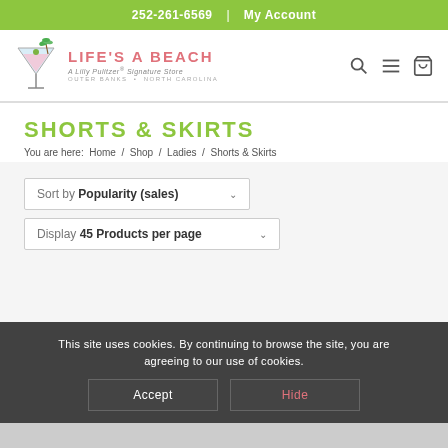252-261-6569  |  My Account
[Figure (logo): Life's A Beach logo — martini glass with palm tree illustration, pink brand name text, subtitle 'A Lilly Pulitzer Signature Store', location 'Outer Banks • North Carolina']
SHORTS & SKIRTS
You are here: Home / Shop / Ladies / Shorts & Skirts
Sort by Popularity (sales)
Display 45 Products per page
This site uses cookies. By continuing to browse the site, you are agreeing to our use of cookies.
Accept
Hide